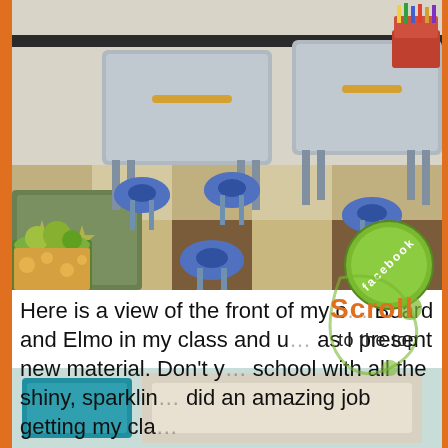[Figure (photo): Classroom photo showing student desks and blue chairs arranged on a checkered tile floor, with colorful supplies and a rug visible]
Here is a view of the front of my c... Board and Elmo in my class and u... as I present new material. Don't you p... school with all the shiny, sparkling flo... did an amazing job getting my clas...
[Figure (photo): Partial view of classroom bottom, teal/turquoise colored area]
[Figure (illustration): Facebook social badge - green circle with 'facebook' text rotated]
[Figure (illustration): Scroll to the top badge - orange and green decorative text reading 'Scroll to the top']